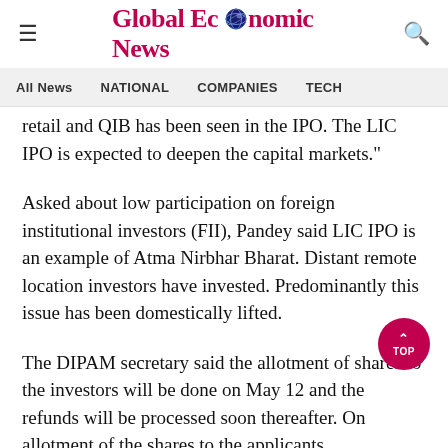Global Economic News
retail and QIB has been seen in the IPO. The LIC IPO is expected to deepen the capital markets."
Asked about low participation on foreign institutional investors (FII), Pandey said LIC IPO is an example of Atma Nirbhar Bharat. Distant remote location investors have invested. Predominantly this issue has been domestically lifted.
The DIPAM secretary said the allotment of shares to the investors will be done on May 12 and the refunds will be processed soon thereafter. On allotment of the shares to the applicants,